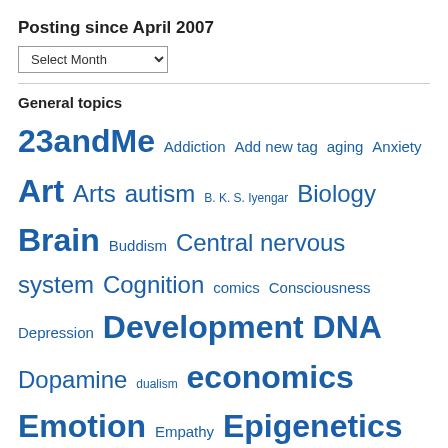Posting since April 2007
Select Month (dropdown)
General topics
23andMe Addiction Add new tag aging Anxiety Art Arts autism B. K. S. Iyengar Biology Brain Buddism Central nervous system Cognition comics Consciousness Depression Development DNA Dopamine dualism economics Emotion Empathy Epigenetics evolution fear Frontal lobe Functional magnetic resonance imaging Gene